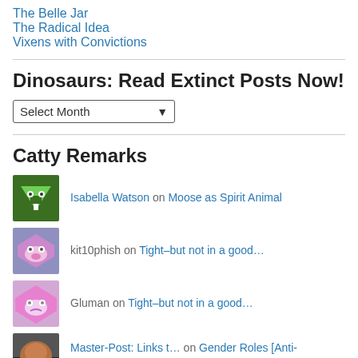The Belle Jar
The Radical Idea
Vixens with Convictions
Dinosaurs: Read Extinct Posts Now!
Select Month
Catty Remarks
Isabella Watson on Moose as Spirit Animal
kit10phish on Tight–but not in a good…
Gluman on Tight–but not in a good…
Master-Post: Links t… on Gender Roles [Anti-Valentine…